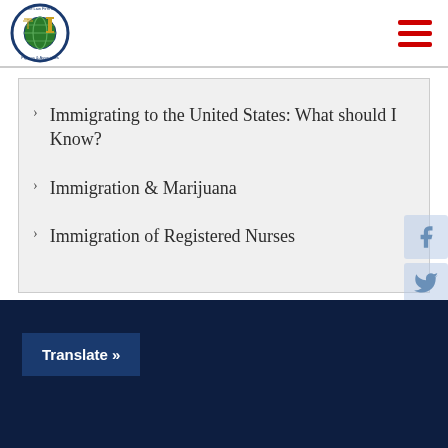The Law Firm of Figeroa & Associates — logo and navigation
Immigrating to the United States: What should I Know?
Immigration & Marijuana
Immigration of Registered Nurses
Translate »